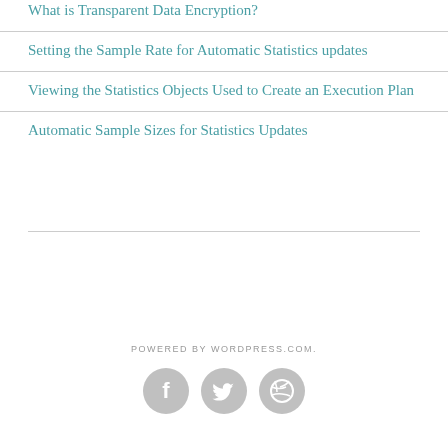What is Transparent Data Encryption?
Setting the Sample Rate for Automatic Statistics updates
Viewing the Statistics Objects Used to Create an Execution Plan
Automatic Sample Sizes for Statistics Updates
POWERED BY WORDPRESS.COM.